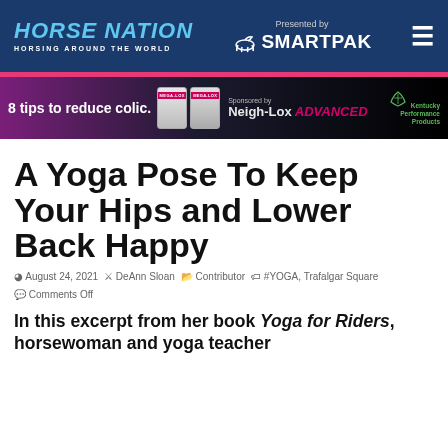HORSE NATION HORSING AROUND THE WORLD — Presented by SMARTPAK
[Figure (infographic): Advertisement banner: '8 tips to reduce colic.' with Mega-Lox product images, Sponsored by Neigh-Lox ADVANCED, Kentucky Performance Products logo]
A Yoga Pose To Keep Your Hips and Lower Back Happy
August 24, 2021  DeAnn Sloan  Contributor  #YOGA, Trafalgar Square  Comments Off
In this excerpt from her book Yoga for Riders, horsewoman and yoga teacher...